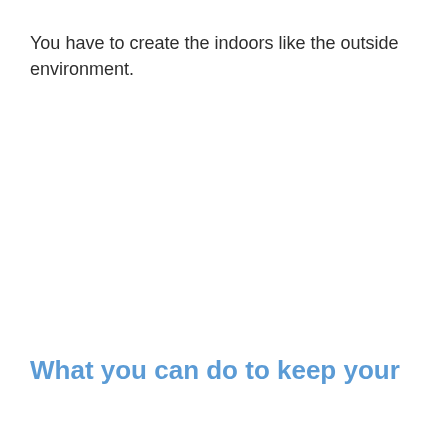You have to create the indoors like the outside environment.
What you can do to keep your